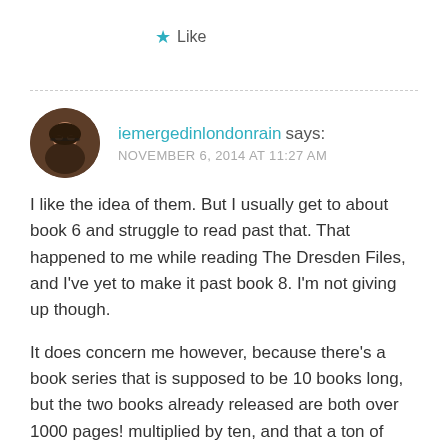★ Like
iemergedinlondonrain says:
NOVEMBER 6, 2014 AT 11:27 AM
I like the idea of them. But I usually get to about book 6 and struggle to read past that. That happened to me while reading The Dresden Files, and I've yet to make it past book 8. I'm not giving up though.
It does concern me however, because there's a book series that is supposed to be 10 books long, but the two books already released are both over 1000 pages! multiplied by ten, and that a ton of reading.